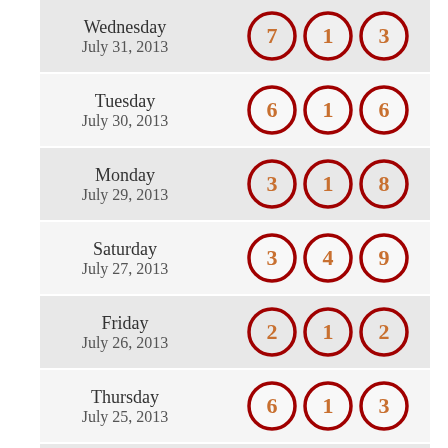Wednesday July 31, 2013 — 7, 1, 3
Tuesday July 30, 2013 — 6, 1, 6
Monday July 29, 2013 — 3, 1, 8
Saturday July 27, 2013 — 3, 4, 9
Friday July 26, 2013 — 2, 1, 2
Thursday July 25, 2013 — 6, 1, 3
Wednesday July 24, 2013 — 3, 6, 3